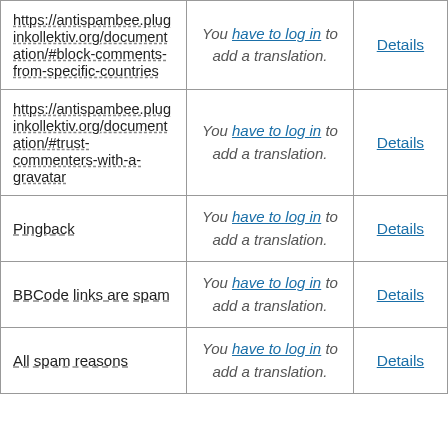| https://antispambee.pluginkollektiv.org/documentation/#block-comments-from-specific-countries | You have to log in to add a translation. | Details |
| https://antispambee.pluginkollektiv.org/documentation/#trust-commenters-with-a-gravatar | You have to log in to add a translation. | Details |
| Pingback | You have to log in to add a translation. | Details |
| BBCode links are spam | You have to log in to add a translation. | Details |
| All spam reasons | You have to log in to add a translation. | Details |